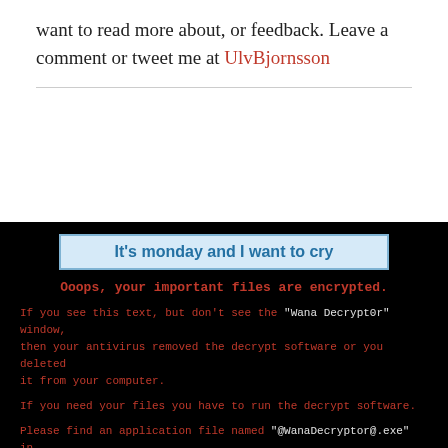want to read more about, or feedback. Leave a comment or tweet me at UlvBjornsson
[Figure (screenshot): WannaCry ransomware screenshot with black background. Title banner reads 'It's monday and I want to cry'. Red monospace text: 'Ooops, your important files are encrypted.' followed by ransom instructions. Bottom banner shows 'ulvbjornsson.com']